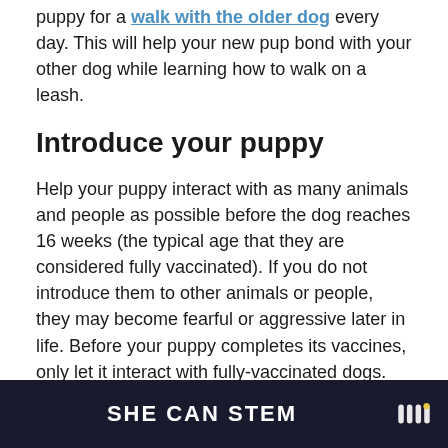puppy for a walk with the older dog every day. This will help your new pup bond with your other dog while learning how to walk on a leash.
Introduce your puppy
Help your puppy interact with as many animals and people as possible before the dog reaches 16 weeks (the typical age that they are considered fully vaccinated). If you do not introduce them to other animals or people, they may become fearful or aggressive later in life. Before your puppy completes its vaccines, only let it interact with fully-vaccinated dogs.
Start obedience training
Take your puppy to a puppy kindergarten class and sta... y. me, on...
SHE CAN STEM